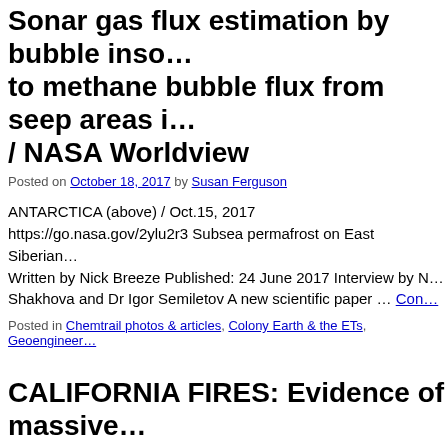Sonar gas flux estimation by bubble inso... to methane bubble flux from seep areas i... / NASA Worldview
Posted on October 18, 2017 by Susan Ferguson
ANTARCTICA (above) / Oct.15, 2017 https://go.nasa.gov/2ylu2r3 Subsea permafrost on East Siberian... Written by Nick Breeze Published: 24 June 2017 Interview by N... Shakhova and Dr Igor Semiletov A new scientific paper … Con...
Posted in Chemtrail photos & articles, Colony Earth & the ETs, Geoengineer...
CALIFORNIA FIRES: Evidence of massive... spraying on Oct.15 & Oct.16 / Thermate /... possible dangers, both medically and env... also able to pass through cell membrane... their interactions with biological systems... unknown. /1PacificRedwood videos...